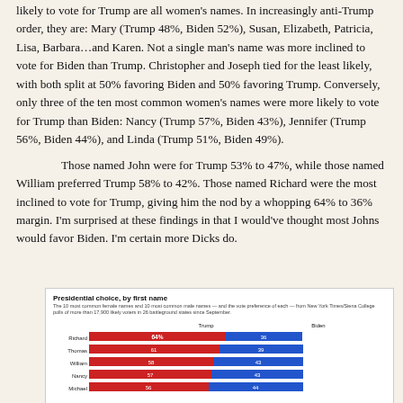likely to vote for Trump are all women's names. In increasingly anti-Trump order, they are: Mary (Trump 48%, Biden 52%), Susan, Elizabeth, Patricia, Lisa, Barbara…and Karen. Not a single man's name was more inclined to vote for Biden than Trump. Christopher and Joseph tied for the least likely, with both split at 50% favoring Biden and 50% favoring Trump. Conversely, only three of the ten most common women's names were more likely to vote for Trump than Biden: Nancy (Trump 57%, Biden 43%), Jennifer (Trump 56%, Biden 44%), and Linda (Trump 51%, Biden 49%).
Those named John were for Trump 53% to 47%, while those named William preferred Trump 58% to 42%. Those named Richard were the most inclined to vote for Trump, giving him the nod by a whopping 64% to 36% margin. I'm surprised at these findings in that I would've thought most Johns would favor Biden. I'm certain more Dicks do.
[Figure (bar-chart): Presidential choice, by first name]